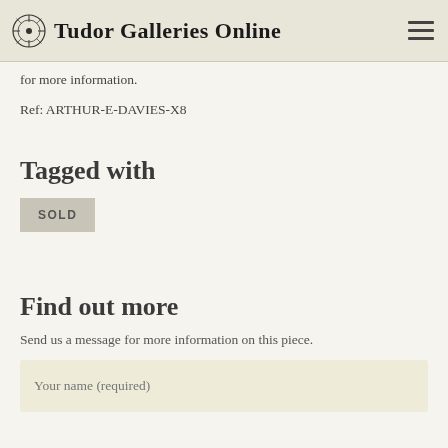Tudor Galleries Online
for more information.
Ref: ARTHUR-E-DAVIES-X8
Tagged with
SOLD
Find out more
Send us a message for more information on this piece.
Your name (required)